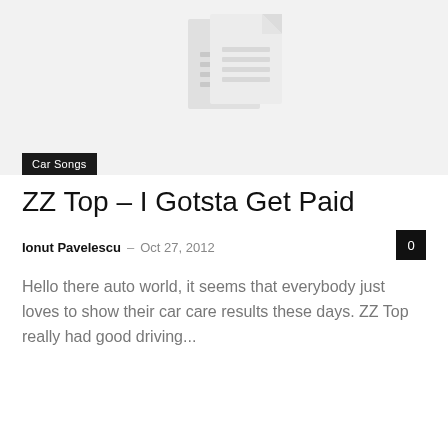[Figure (illustration): Light gray hero image area with a document/file icon in the center, showing a stylized page with lines representing text content]
Car Songs
ZZ Top – I Gotsta Get Paid
Ionut Pavelescu  –  Oct 27, 2012
Hello there auto world, it seems that everybody just loves to show their car care results these days. ZZ Top really had good driving...